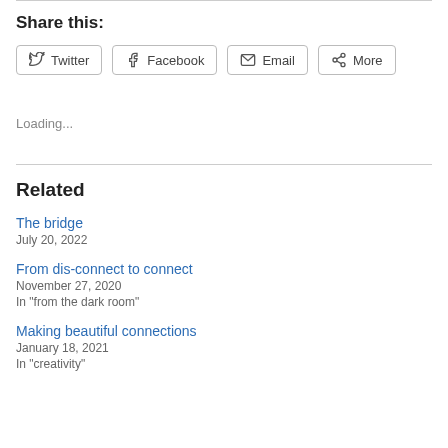Share this:
Twitter
Facebook
Email
More
Loading...
Related
The bridge
July 20, 2022
From dis-connect to connect
November 27, 2020
In "from the dark room"
Making beautiful connections
January 18, 2021
In "creativity"